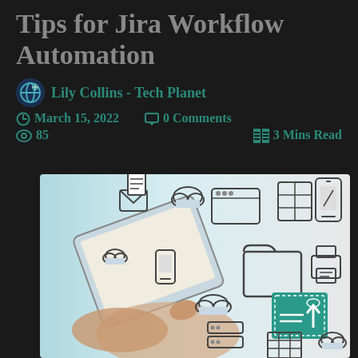Tips for Jira Workflow Automation
Lily Collins - Tech Planet
March 15, 2022   0 Comments   85   3 Mins Read
[Figure (photo): Hands using a tablet with cloud computing and digital workflow icons floating around it, including mail, documents, mobile phone, browser window, folder, and cloud storage icons. A teal upload icon is visible in the bottom right.]